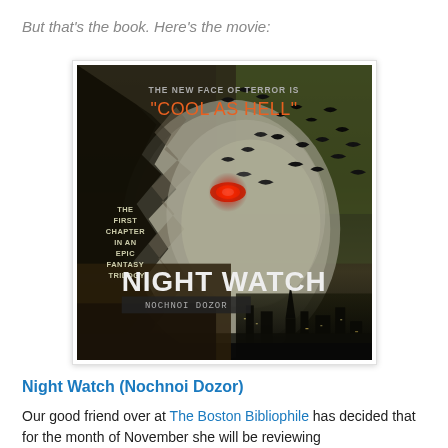But that's the book. Here's the movie:
[Figure (photo): Movie poster for Night Watch (Nochnoi Dozor). Dark horror/fantasy poster featuring a crumbling stone face with one red glowing eye, birds flying, cityscape at bottom, text 'THE NEW FACE OF TERROR IS "COOL AS HELL"' at top, and 'NIGHT WATCH NOCHNOI DOZOR' title text with 'THE FIRST CHAPTER IN AN EPIC FANTASY TRILOGY' on the left side.]
Night Watch (Nochnoi Dozor)
Our good friend over at The Boston Bibliophile has decided that for the month of November she will be reviewing